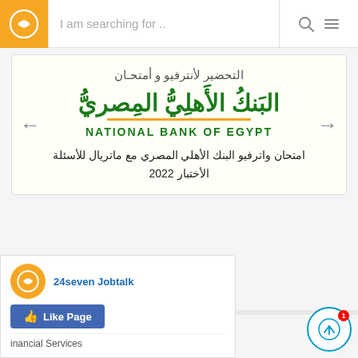I am searching for ...
[Figure (screenshot): Carousel card showing National Bank of Egypt branding with Arabic text for interview/exam preparation. Arabic text at top: التحضير لأنترفيو و أمتحان, then NBE Arabic logo in green, then NATIONAL BANK OF EGYPT in green, then Arabic body text: امتحان واترفيو البنك الأهلي المصري مع ماتريال للأسئلة الأختبار 2022]
View all articles ❯
Actively Recruiting
[Figure (screenshot): Bottom popup card showing 24seven Jobtalk Facebook page like prompt with logo icon and Like Page button in blue. Also shows partial text: inancial Services]
[Figure (other): Notification/send button in bottom right corner with badge showing 1]